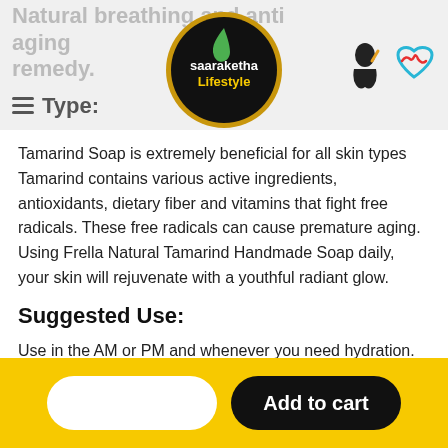Natural breathing and anti aging remedy. Skin Type:
[Figure (logo): Saaraketha Lifestyle logo — circular black badge with gold border, green leaf, white text]
Tamarind Soap is extremely beneficial for all skin types Tamarind contains various active ingredients, antioxidants, dietary fiber and vitamins that fight free radicals. These free radicals can cause premature aging. Using Frella Natural Tamarind Handmade Soap daily, your skin will rejuvenate with a youthful radiant glow.
Suggested Use:
Use in the AM or PM and whenever you need hydration. Wonderful for all skin types.
Add to cart